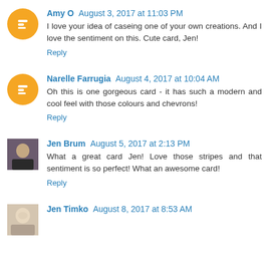Amy O August 3, 2017 at 11:03 PM
I love your idea of caseing one of your own creations. And I love the sentiment on this. Cute card, Jen!
Reply
Narelle Farrugia August 4, 2017 at 10:04 AM
Oh this is one gorgeous card - it has such a modern and cool feel with those colours and chevrons!
Reply
Jen Brum August 5, 2017 at 2:13 PM
What a great card Jen! Love those stripes and that sentiment is so perfect! What an awesome card!
Reply
Jen Timko August 8, 2017 at 8:53 AM